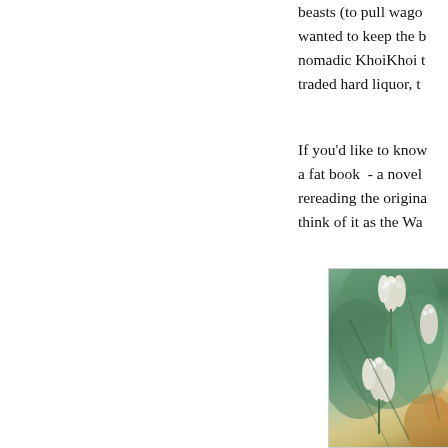beasts (to pull wagons), wanted to keep the b... nomadic KhoiKhoi t... traded hard liquor, t...
If you'd like to know... a fat book  - a novel... rereading the origina... think of it as the Wa...
[Figure (photo): Close-up photograph of white flowering plant with large green leaves, possibly a tropical or subtropical species.]